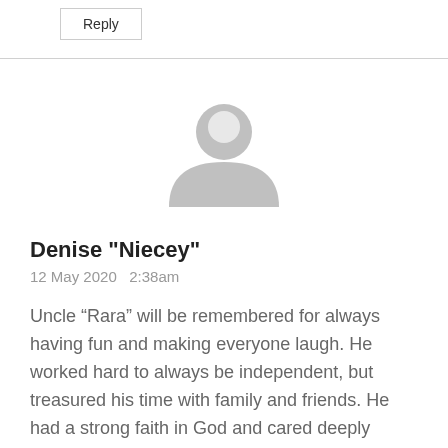Reply
[Figure (illustration): Default user avatar: grey silhouette of a person (head and shoulders) on white background, circular shape]
Denise "Niecey"
12 May 2020   2:38am
Uncle “Rara” will be remembered for always having fun and making everyone laugh. He worked hard to always be independent, but treasured his time with family and friends. He had a strong faith in God and cared deeply about those who